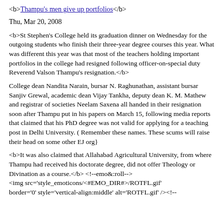<b>Thampu's men give up portfolios</b>
Thu, Mar 20, 2008
<b>St Stephen's College held its graduation dinner on Wednesday for the outgoing students who finish their three-year degree courses this year. What was different this year was that most of the teachers holding important portfolios in the college had resigned following officer-on-special duty Reverend Valson Thampu's resignation.</b>
College dean Nandita Narain, bursar N. Raghunathan, assistant bursar Sanjiv Grewal, academic dean Vijay Tankha, deputy dean K. M. Mathew and registrar of societies Neelam Saxena all handed in their resignation soon after Thampu put in his papers on March 15, following media reports that claimed that his PhD degree was not valid for applying for a teaching post in Delhi University. ( Remember these names. These scums will raise their head on some other EJ org}
<b>It was also claimed that Allahabad Agricultural University, from where Thampu had received his doctorate degree, did not offer Theology or Divination as a course.</b> <!--emo&:roll--> <img src='style_emoticons/<#EMO_DIR#>/ROTFL.gif' border='0' style='vertical-align:middle' alt='ROTFL.gif' /><!--